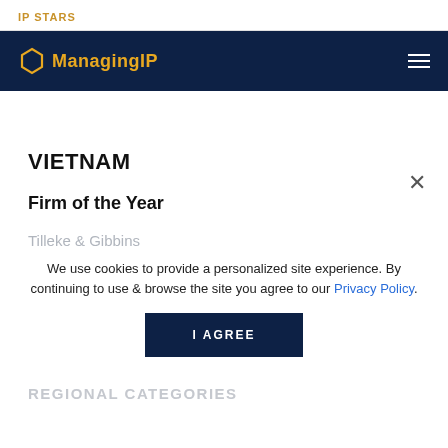IP STARS
[Figure (logo): Managing IP logo with hexagon icon on dark navy navigation bar]
VIETNAM
Firm of the Year
Tilleke & Gibbins
We use cookies to provide a personalized site experience. By continuing to use & browse the site you agree to our Privacy Policy.
I AGREE
REGIONAL CATEGORIES